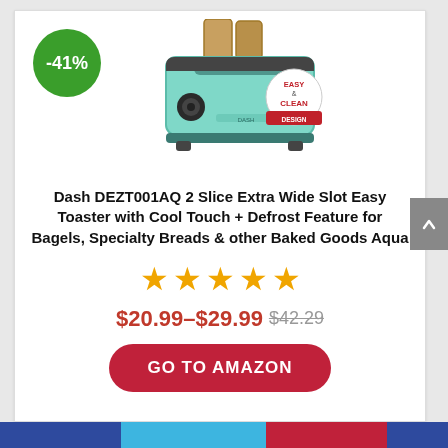[Figure (photo): Aqua/mint colored 2-slice toaster (Dash DEZT001AQ) with toast in slots, a round dial on the front, and an 'Easy & Clean Design' badge overlay. A green circle badge showing -41% discount is in the upper left.]
Dash DEZT001AQ 2 Slice Extra Wide Slot Easy Toaster with Cool Touch + Defrost Feature for Bagels, Specialty Breads & other Baked Goods Aqua
[Figure (other): Five gold star rating icons]
$20.99–$29.99 $42.29
GO TO AMAZON